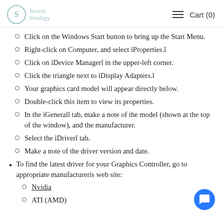Sound Fixology | Cart (0)
Click on the Windows Start button to bring up the Start Menu.
Right-click on Computer, and select ìProperties.î
Click on ìDevice Managerî in the upper-left corner.
Click the triangle next to ìDisplay Adapters.î
Your graphics card model will appear directly below.
Double-click this item to view its properties.
In the ìGeneralî tab, make a note of the model (shown at the top of the window), and the manufacturer.
Select the ìDriverî tab.
Make a note of the driver version and date.
To find the latest driver for your Graphics Controller, go to appropriate manufacturerís web site:
Nvidia
ATI (AMD)